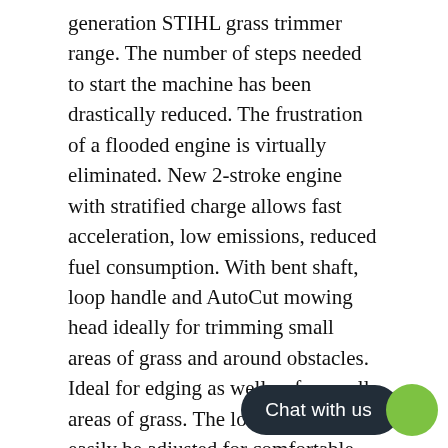generation STIHL grass trimmer range. The number of steps needed to start the machine has been drastically reduced. The frustration of a flooded engine is virtually eliminated. New 2-stroke engine with stratified charge allows fast acceleration, low emissions, reduced fuel consumption. With bent shaft, loop handle and AutoCut mowing head ideally for trimming small areas of grass and around obstacles. Ideal for edging as well as for small areas of grass. The loop handle can easily be adjusted for comfortable operation without the use of tools.
STIHL ErgoStart (E)
STIHL ErgoStart cuts the effort required to start the tool by half, while the starter cord can be pulled at just one third of the normal force. A coil spring between the starter cord and the crankshaft smoothes out making them virtually undetectable th itself.